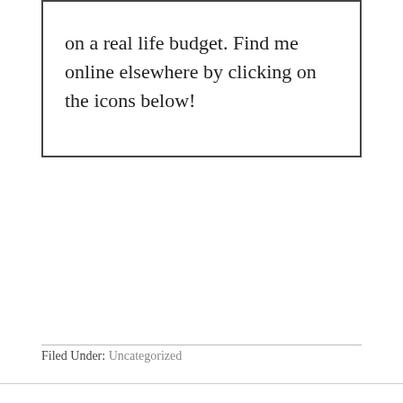on a real life budget. Find me online elsewhere by clicking on the icons below!
Filed Under: Uncategorized